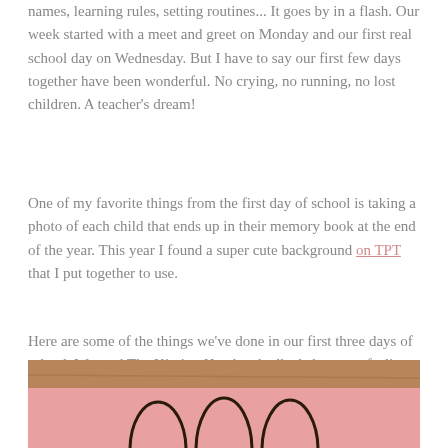names, learning rules, setting routines... It goes by in a flash. Our week started with a meet and greet on Monday and our first real school day on Wednesday. But I have to say our first few days together have been wonderful. No crying, no running, no lost children. A teacher's dream!
One of my favorite things from the first day of school is taking a photo of each child that ends up in their memory book at the end of the year. This year I found a super cute background on TPT that I put together to use.
Here are some of the things we've done in our first three days of school. We read The Kissing Hand and talked about our feelings on the first day of school.
[Figure (photo): Photo showing a pink strip background with hand/finger outlines (likely a student art project related to The Kissing Hand), set against a wooden surface background]